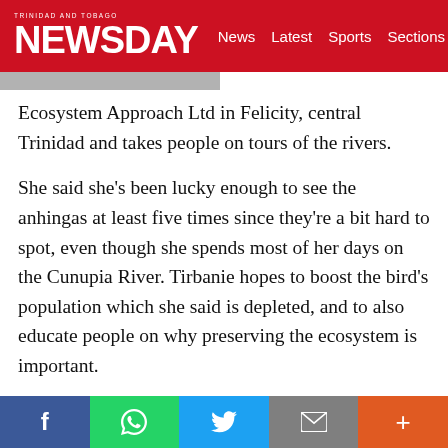TRINIDAD AND TOBAGO NEWSDAY — News Latest Sports Sections
Ecosystem Approach Ltd in Felicity, central Trinidad and takes people on tours of the rivers.
She said she's been lucky enough to see the anhingas at least five times since they're a bit hard to spot, even though she spends most of her days on the Cunupia River. Tirbanie hopes to boost the bird's population which she said is depleted, and to also educate people on why preserving the ecosystem is important.
On an a tour with Newsday Kids last month, three anhinga birds were spotted; two were seen